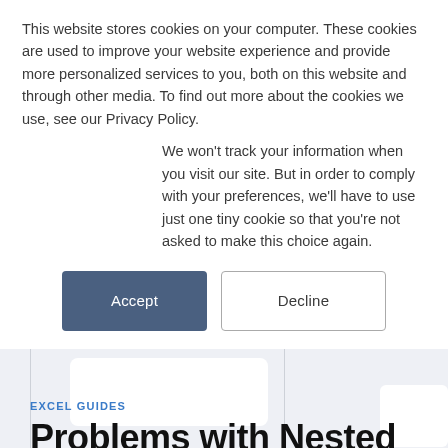This website stores cookies on your computer. These cookies are used to improve your website experience and provide more personalized services to you, both on this website and through other media. To find out more about the cookies we use, see our Privacy Policy.
We won't track your information when you visit our site. But in order to comply with your preferences, we'll have to use just one tiny cookie so that you're not asked to make this choice again.
[Figure (screenshot): Two buttons: Accept (dark blue filled) and Decline (white outlined)]
EXCEL GUIDES
Problems with Nested